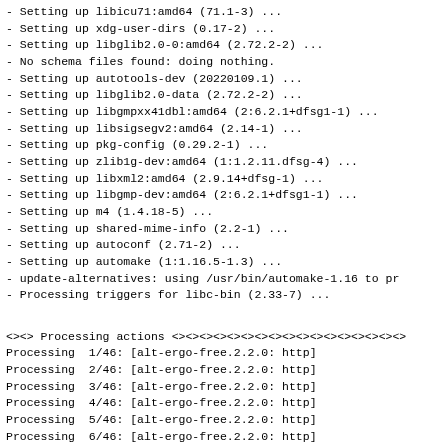- Setting up libicu71:amd64 (71.1-3) ...
- Setting up xdg-user-dirs (0.17-2) ...
- Setting up libglib2.0-0:amd64 (2.72.2-2) ...
- No schema files found: doing nothing.
- Setting up autotools-dev (20220109.1) ...
- Setting up libglib2.0-data (2.72.2-2) ...
- Setting up libgmpxx41dbl:amd64 (2:6.2.1+dfsg1-1) ...
- Setting up libsigsegv2:amd64 (2.14-1) ...
- Setting up pkg-config (0.29.2-1) ...
- Setting up zlib1g-dev:amd64 (1:1.2.11.dfsg-4) ...
- Setting up libxml2:amd64 (2.9.14+dfsg-1) ...
- Setting up libgmp-dev:amd64 (2:6.2.1+dfsg1-1) ...
- Setting up m4 (1.4.18-5) ...
- Setting up shared-mime-info (2.2-1) ...
- Setting up autoconf (2.71-2) ...
- Setting up automake (1:1.16.5-1.3) ...
- update-alternatives: using /usr/bin/automake-1.16 to pr
- Processing triggers for libc-bin (2.33-7) ...
<><> Processing actions <><><><><><><><><><><><><
Processing  1/46: [alt-ergo-free.2.2.0: http]
Processing  2/46: [alt-ergo-free.2.2.0: http]
Processing  3/46: [alt-ergo-free.2.2.0: http]
Processing  4/46: [alt-ergo-free.2.2.0: http]
Processing  5/46: [alt-ergo-free.2.2.0: http]
Processing  6/46: [alt-ergo-free.2.2.0: http]
Processing  7/46: [alt-ergo-free.2.2.0: http]
Processing  8/46: [alt-ergo-free.2.2.0: http]
Processing  9/46: [alt-ergo-free.2.2.0: http] [conf-gmp:
Processing 10/46: [alt-ergo-free.2.2.0: http] [conf-gmp: